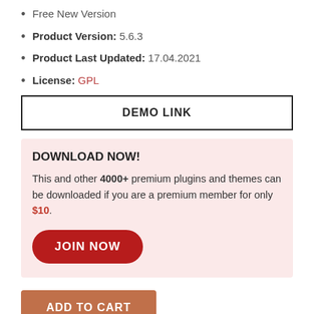Free New Version
Product Version: 5.6.3
Product Last Updated: 17.04.2021
License: GPL
DEMO LINK
DOWNLOAD NOW! This and other 4000+ premium plugins and themes can be downloaded if you are a premium member for only $10.
JOIN NOW
ADD TO CART